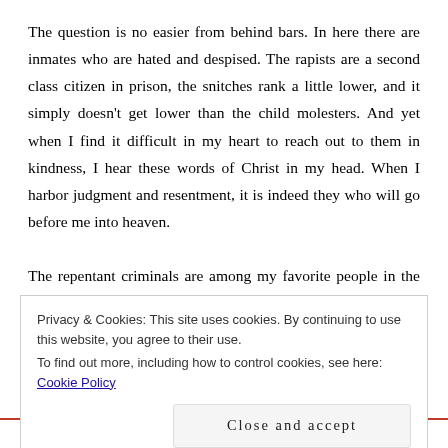The question is no easier from behind bars. In here there are inmates who are hated and despised. The rapists are a second class citizen in prison, the snitches rank a little lower, and it simply doesn't get lower than the child molesters. And yet when I find it difficult in my heart to reach out to them in kindness, I hear these words of Christ in my head. When I harbor judgment and resentment, it is indeed they who will go before me into heaven.
The repentant criminals are among my favorite people in the world. The person who has honestly looked into the depths of
Privacy & Cookies: This site uses cookies. By continuing to use this website, you agree to their use.
To find out more, including how to control cookies, see here: Cookie Policy

Close and accept